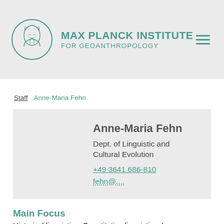MAX PLANCK INSTITUTE FOR GEOANTHROPOLOGY
Staff  Anne-Maria Fehn
Anne-Maria Fehn
Dept. of Linguistic and Cultural Evolution
+49 3641 686-810
fehn@....
Main Focus
Historical linguistics, Quantitative linguistics, Language